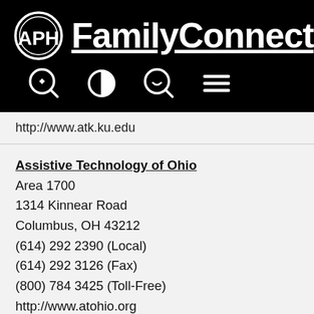[Figure (logo): APH FamilyConnect logo with navigation icons (zoom in, contrast, search, menu) on black header bar]
http://www.atk.ku.edu
Assistive Technology of Ohio
Area 1700
1314 Kinnear Road
Columbus, OH 43212
(614) 292 2390 (Local)
(614) 292 3126 (Fax)
(800) 784 3425 (Toll-Free)
http://www.atohio.org
Blind Information Technology Specialists